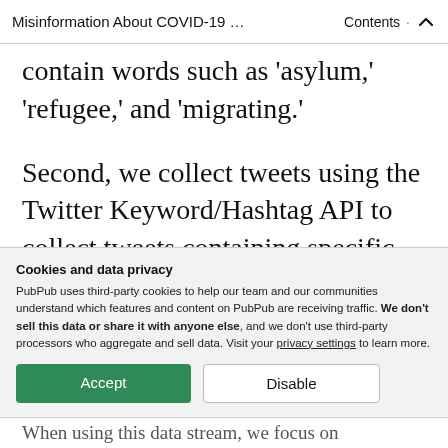Misinformation About COVID-19 … · Contents
contain words such as 'asylum,' 'refugee,' and 'migrating.'
Second, we collect tweets using the Twitter Keyword/Hashtag API to collect tweets containing specific hashtags or keywords. Since January 15, 2020, we have collected tweets that contain COVID-19
Cookies and data privacy
PubPub uses third-party cookies to help our team and our communities understand which features and content on PubPub are receiving traffic. We don't sell this data or share it with anyone else, and we don't use third-party processors who aggregate and sell data. Visit your privacy settings to learn more.
When using this data stream, we focus on